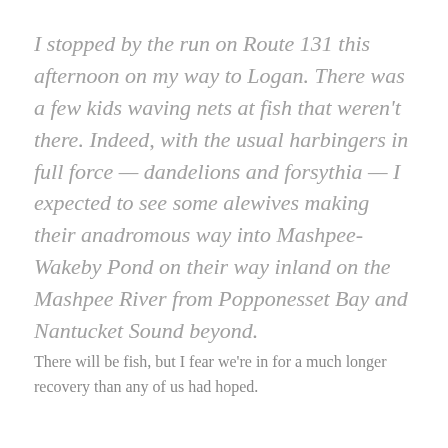I stopped by the run on Route 131 this afternoon on my way to Logan. There was a few kids waving nets at fish that weren't there. Indeed, with the usual harbingers in full force — dandelions and forsythia — I expected to see some alewives making their anadromous way into Mashpee-Wakeby Pond on their way inland on the Mashpee River from Popponesset Bay and Nantucket Sound beyond.
There will be fish, but I fear we're in for a much longer recovery than any of us had hoped.